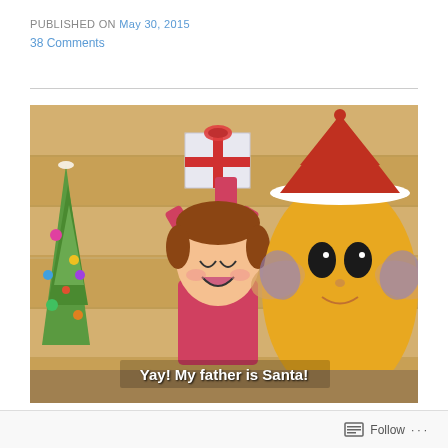PUBLISHED ON May 30, 2015
38 Comments
[Figure (screenshot): Anime screenshot showing a cheerful young girl in pink raising her hands holding a gift, next to a large yellow rounded creature wearing a red Santa hat. Christmas tree visible in background. Subtitle reads: Yay! My father is Santa!]
Yay! My father is Santa!
Follow